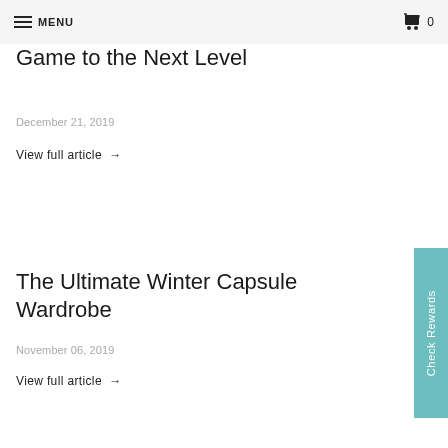MENU  0
Tips to Take Your Layering Game to the Next Level
December 21, 2019
View full article →
The Ultimate Winter Capsule Wardrobe
November 06, 2019
View full article →